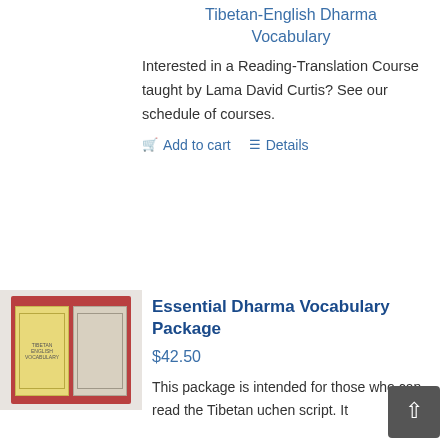Tibetan-English Dharma Vocabulary
Interested in a Reading-Translation Course taught by Lama David Curtis? See our schedule of courses.
Add to cart
Details
[Figure (photo): Two books on a red background: a yellow-covered book on the left and a gray/white-covered book on the right]
Essential Dharma Vocabulary Package
$42.50
This package is intended for those who can read the Tibetan uchen script. It